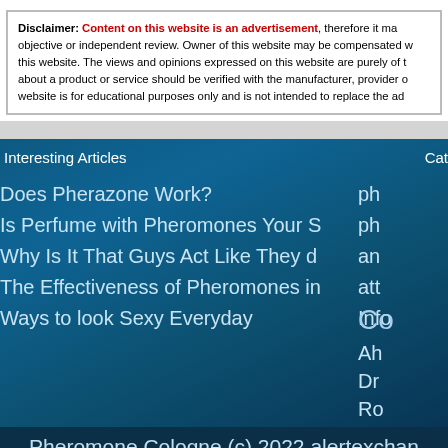Disclaimer: Content on this website is an advertisement, therefore it may not be objective or independent review. Owner of this website may be compensated with this website. The views and opinions expressed on this website are purely of the about a product or service should be verified with the manufacturer, provider or website is for educational purposes only and is not intended to replace the ad
Interesting Articles
Does Pherazone Work?
Is Perfume with Pheromones Your S
Why Is It That Guys Act Like They d
The Effectiveness of Pheromones in
Ways to look Sexy Everyday
Pheromone Cologne (c) 2022 alertexchan